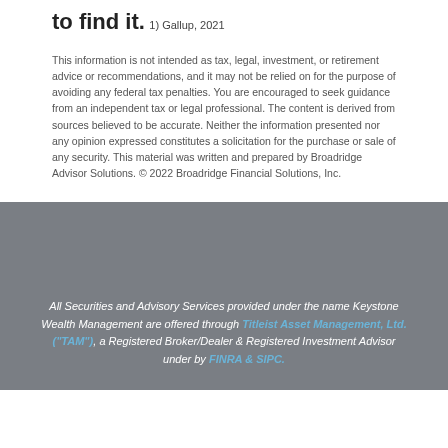to find it.
1) Gallup, 2021
This information is not intended as tax, legal, investment, or retirement advice or recommendations, and it may not be relied on for the purpose of avoiding any federal tax penalties. You are encouraged to seek guidance from an independent tax or legal professional. The content is derived from sources believed to be accurate. Neither the information presented nor any opinion expressed constitutes a solicitation for the purchase or sale of any security. This material was written and prepared by Broadridge Advisor Solutions. © 2022 Broadridge Financial Solutions, Inc.
All Securities and Advisory Services provided under the name Keystone Wealth Management are offered through Titleist Asset Management, Ltd. ("TAM"), a Registered Broker/Dealer & Registered Investment Advisor under by FINRA & SIPC.